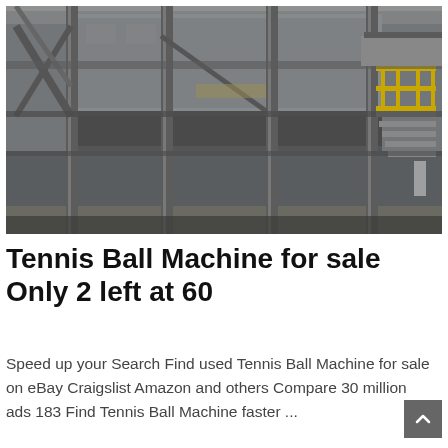[Figure (photo): Industrial interior of a large steel structure or facility, showing multiple levels with steel beams, columns, staircases with yellow railings, and heavy machinery or conveyor systems. The space appears to be a factory or arena under construction or maintenance.]
Tennis Ball Machine for sale Only 2 left at 60
Speed up your Search Find used Tennis Ball Machine for sale on eBay Craigslist Amazon and others Compare 30 million ads 183 Find Tennis Ball Machine faster ...